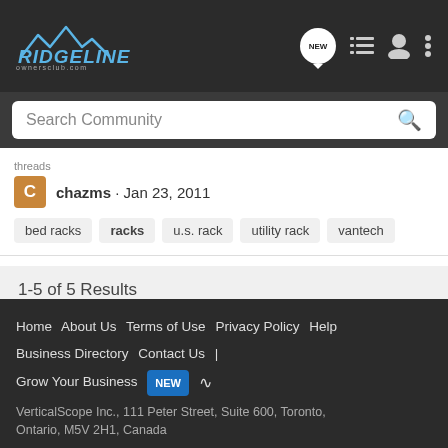Ridgeline Owners Club - Search Community
chazms · Jan 23, 2011
bed racks  racks  u.s. rack  utility rack  vantech
1-5 of 5 Results
< Search
Home  About Us  Terms of Use  Privacy Policy  Help  Business Directory  Contact Us  |  Grow Your Business  NEW  [RSS]
VerticalScope Inc., 111 Peter Street, Suite 600, Toronto, Ontario, M5V 2H1, Canada